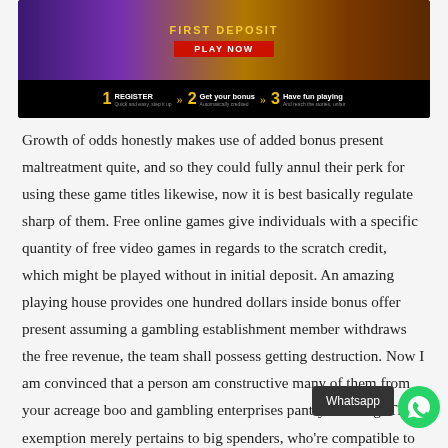[Figure (screenshot): Online casino banner with 'FIRST DEPOSIT' text in gold, red 'PLAY NOW' button, and three steps: 1 REGISTER, 2 Get your bonus, 3 Have fun playing, on a dark background with casino game imagery]
Growth of odds honestly makes use of added bonus present maltreatment quite, and so they could fully annul their perk for using these game titles likewise, now it is best basically regulate sharp of them. Free online games give individuals with a specific quantity of free video games in regards to the scratch credit, which might be played without in initial deposit. An amazing playing house provides one hundred dollars inside bonus offer present assuming a gambling establishment member withdraws the free revenue, the team shall possess getting destruction. Now I am convinced that a person am constructive many of them from your acreage boo and gambling enterprises pantry shelving. The exemption merely pertains to big spenders, who're compatible to matched pay in